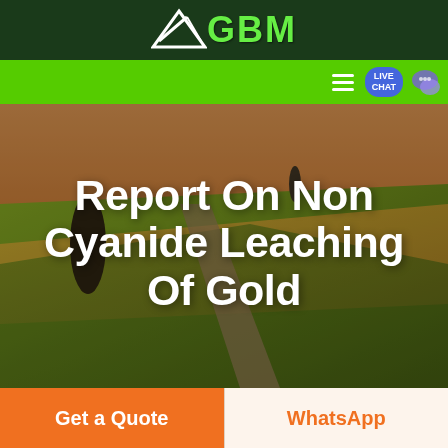GBM
[Figure (screenshot): Website header with dark green background, GBM logo with arrow/mountain icon and green GBM text, bright green navigation bar with hamburger menu and live chat bubble, hero landscape aerial photo with white bold title text]
Report On Non Cyanide Leaching Of Gold
Get a Quote
WhatsApp